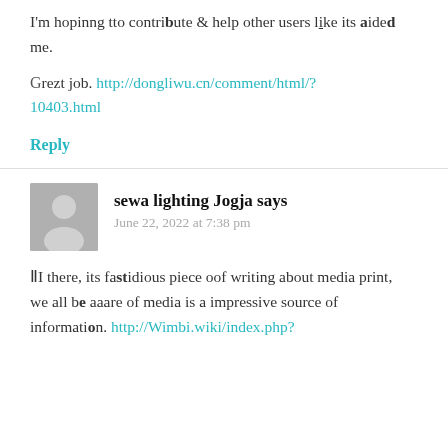I'm hopinng tto contribute & help other users like its aided me.
Grezt job. http://dongliwu.cn/comment/html/?10403.html
Reply
sewa lighting Jogja says
June 22, 2022 at 7:38 pm
Ⅱi there, its fastidious piece oof writing about media print, we all be aaare of media is a impressive source of information. http://Wimbi.wiki/index.php?